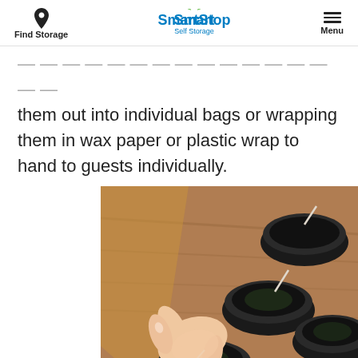Find Storage | SmartStop Self Storage | Menu
them out into individual bags or wrapping them in wax paper or plastic wrap to hand to guests individually.
[Figure (photo): A hand using a small clothespin to handle a candle wick being placed into a small dark glass jar, with several other similar dark jars with wicks visible on a wooden surface.]